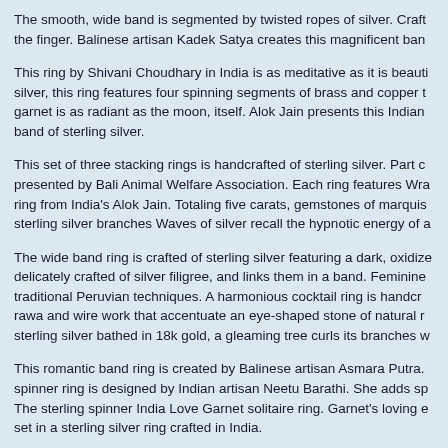The smooth, wide band is segmented by twisted ropes of silver. Crafted for the finger. Balinese artisan Kadek Satya creates this magnificent ban
This ring by Shivani Choudhary in India is as meditative as it is beauti... silver, this ring features four spinning segments of brass and copper t... garnet is as radiant as the moon, itself. Alok Jain presents this Indian band of sterling silver.
This set of three stacking rings is handcrafted of sterling silver. Part c... presented by Bali Animal Welfare Association. Each ring features Wra... ring from India's Alok Jain. Totaling five carats, gemstones of marquis... sterling silver branches Waves of silver recall the hypnotic energy of a
The wide band ring is crafted of sterling silver featuring a dark, oxidize... delicately crafted of silver filigree, and links them in a band. Feminine ... traditional Peruvian techniques. A harmonious cocktail ring is handcr... rawa and wire work that accentuate an eye-shaped stone of natural r... sterling silver bathed in 18k gold, a gleaming tree curls its branches w
This romantic band ring is created by Balinese artisan Asmara Putra. spinner ring is designed by Indian artisan Neetu Barathi. She adds sp The sterling spinner India Love Garnet solitaire ring. Garnet's loving e... set in a sterling silver ring crafted in India.